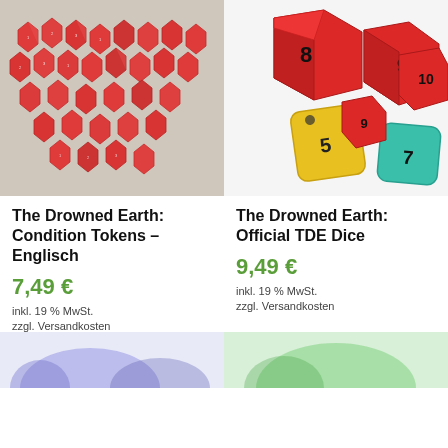[Figure (photo): Red transparent acrylic condition tokens arranged on a surface]
[Figure (photo): Collection of colorful polyhedral dice (red, yellow, teal) with numbers visible, watermark '©2018 THE DROWNED EARTH' at top]
The Drowned Earth: Condition Tokens – Englisch
The Drowned Earth: Official TDE Dice
7,49 €
9,49 €
inkl. 19 % MwSt.
inkl. 19 % MwSt.
zzgl. Versandkosten
zzgl. Versandkosten
[Figure (photo): Bottom partial image left - Drowned Earth product, watermark '©2020 THE DROWNED EARTH']
[Figure (photo): Bottom partial image right - Drowned Earth product, watermark '©2018 THE DROWNED EARTH']